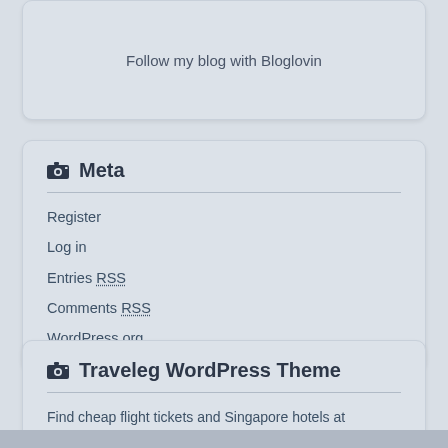Follow my blog with Bloglovin
Meta
Register
Log in
Entries RSS
Comments RSS
WordPress.org
Traveleg WordPress Theme
Find cheap flight tickets and Singapore hotels at http://cenlatravelclub.com.